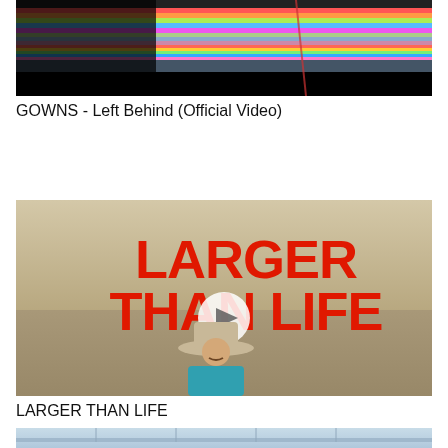[Figure (screenshot): Video thumbnail for GOWNS - Left Behind (Official Video), showing colorful glitched horizontal stripes on dark background]
GOWNS - Left Behind (Official Video)
[Figure (screenshot): Video thumbnail for LARGER THAN LIFE showing bold red text 'LARGER THAN LIFE' over a desert background with a man in a cowboy hat and teal suit, with a play button overlay]
LARGER THAN LIFE
[Figure (screenshot): Partial video thumbnail showing a bridge or highway scene in muted blue tones]